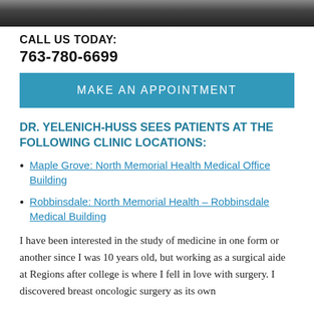[Figure (photo): Partial photo strip at top of page showing a person, appears to be a doctor or professional, partially cropped]
CALL US TODAY:
763-780-6699
MAKE AN APPOINTMENT
DR. YELENICH-HUSS SEES PATIENTS AT THE FOLLOWING CLINIC LOCATIONS:
Maple Grove: North Memorial Health Medical Office Building
Robbinsdale: North Memorial Health – Robbinsdale Medical Building
I have been interested in the study of medicine in one form or another since I was 10 years old, but working as a surgical aide at Regions after college is where I fell in love with surgery. I discovered breast oncologic surgery as its own